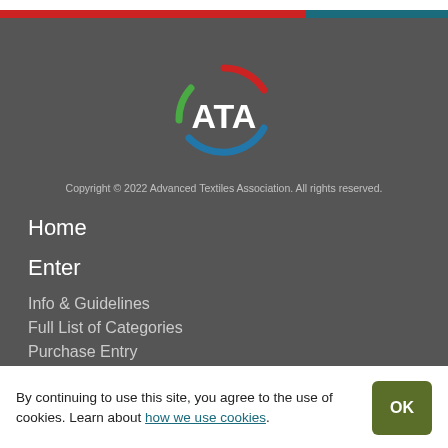[Figure (logo): ATA (Advanced Textiles Association) circular logo with red, green, and blue arc segments surrounding white ATA text]
Copyright © 2022 Advanced Textiles Association. All rights reserved.
Home
Enter
Info & Guidelines
Full List of Categories
Purchase Entry
By continuing to use this site, you agree to the use of cookies. Learn about how we use cookies.